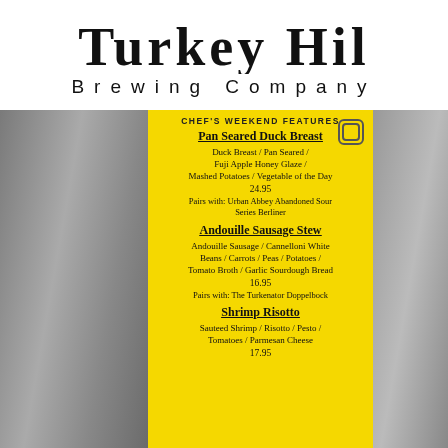TURKEY HIL BREWING COMPANY
CHEF'S WEEKEND FEATURES
Pan Seared Duck Breast
Duck Breast / Pan Seared / Fuji Apple Honey Glaze / Mashed Potatoes / Vegetable of the Day
24.95
Pairs with: Urban Abbey Abandoned Sour Series Berliner
Andouille Sausage Stew
Andouille Sausage / Cannelloni White Beans / Carrots / Peas / Potatoes / Tomato Broth / Garlic Sourdough Bread
16.95
Pairs with: The Turkenator Doppelbock
Shrimp Risotto
Sauteed Shrimp / Risotto / Pesto / Tomatoes / Parmesan Cheese
17.95